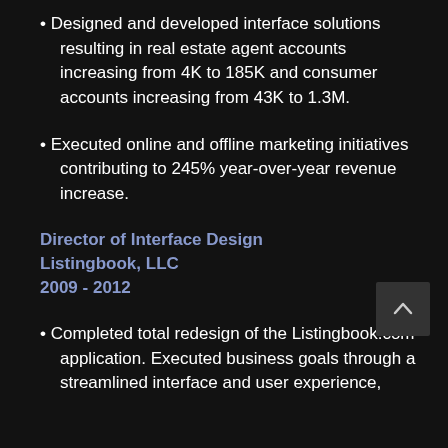Designed and developed interface solutions resulting in real estate agent accounts increasing from 4K to 185K and consumer accounts increasing from 43K to 1.3M.
Executed online and offline marketing initiatives contributing to 245% year-over-year revenue increase.
Director of Interface Design
Listingbook, LLC
2009 - 2012
Completed total redesign of the Listingbook.com application. Executed business goals through a streamlined interface and user experience,